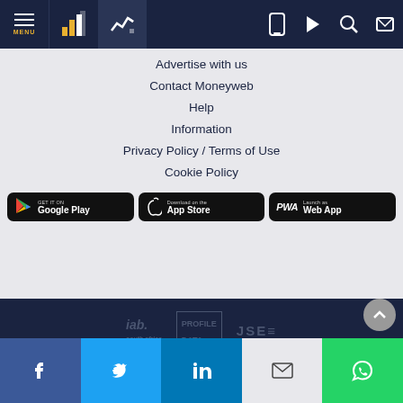[Figure (screenshot): Top navigation bar with MENU, chart icons, and right-side icons (mobile, play, search, login) on dark navy background]
Advertise with us
Contact Moneyweb
Help
Information
Privacy Policy / Terms of Use
Cookie Policy
[Figure (logo): Three app store badges: GET IT ON Google Play, Download on the App Store, PWA Launch as Web App]
[Figure (logo): Footer logos: iab south africa, Profile Data, JSE]
Price and trade data source: JSE Ltd. All other statistics calculated by Profile Data. All data is delayed by at least 15 minutes.
[Figure (logo): Social sharing bar: Facebook, Twitter, LinkedIn, Email, WhatsApp buttons]